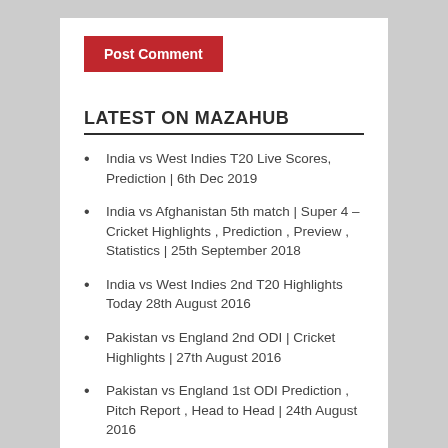Post Comment
LATEST ON MAZAHUB
India vs West Indies T20 Live Scores, Prediction | 6th Dec 2019
India vs Afghanistan 5th match | Super 4 – Cricket Highlights , Prediction , Preview , Statistics | 25th September 2018
India vs West Indies 2nd T20 Highlights Today 28th August 2016
Pakistan vs England 2nd ODI | Cricket Highlights | 27th August 2016
Pakistan vs England 1st ODI Prediction , Pitch Report , Head to Head | 24th August 2016